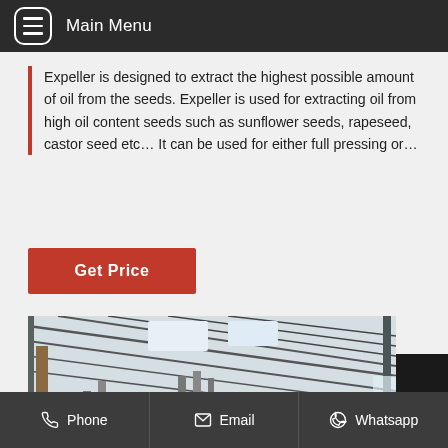Main Menu
Expeller is designed to extract the highest possible amount of oil from the seeds. Expeller is used for extracting oil from high oil content seeds such as sunflower seeds, rapeseed, castor seed etc… It can be used for either full pressing or…
Get Price
[Figure (photo): Industrial oil expeller machines lined up inside a large warehouse/factory building with a steel roof structure. Multiple green and white machines with pipes and mechanical components are visible on the factory floor.]
Phone   Email   Whatsapp